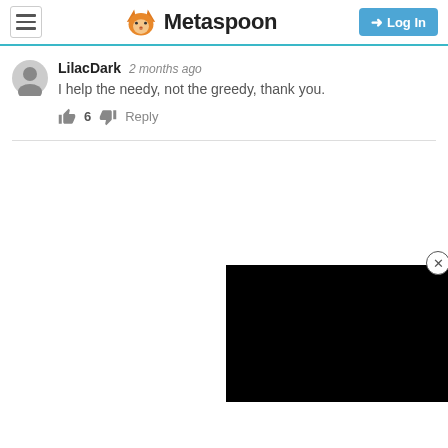Metaspoon — Log In
LilacDark  2 months ago
I help the needy, not the greedy, thank you.
👍 6 👎  Reply
[Figure (screenshot): Black video/ad player with close button (X circle) in top-right corner, positioned in bottom-right of page]